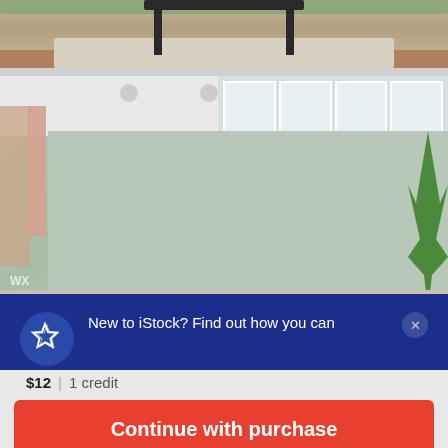[Figure (photo): Top strip: partial interior room view showing sofa edge, coffee table legs, rug, and hardwood floor]
[Figure (photo): Main interior room photo showing a light sage-green painted living room with white ceiling, recessed lights, large windows across the top, a door on the left with curtains, a plant on the right, and light wood-tone floor area. Semi-transparent promotional banner overlays the bottom portion. Watermark 'WX' visible at bottom left.]
New to iStock? Find out how you can get special savings on your favorite images and videos. See details
$12 | 1 credit
Continue with purchase